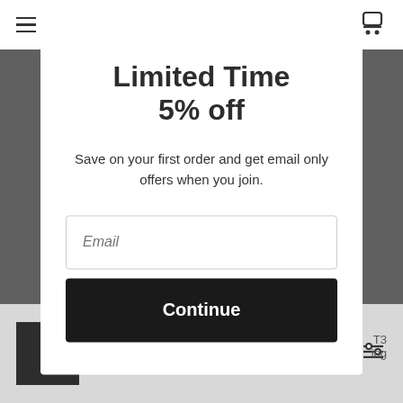[Figure (screenshot): Website header/navigation bar with hamburger menu icon on left and shopping cart icon on right, white background]
Limited Time
5% off
Save on your first order and get email only offers when you join.
Email
Continue
[Figure (screenshot): Website product listing strip at bottom showing partial product thumbnails, names, prices in red, and a filter icon]